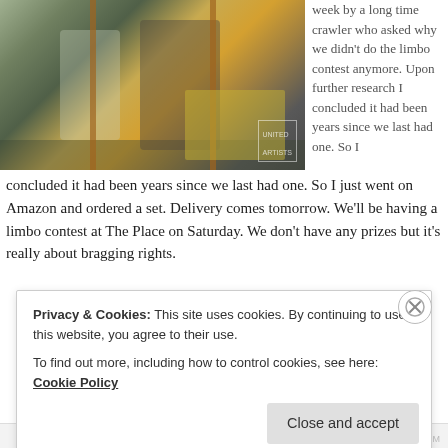[Figure (photo): Vintage photograph of people doing the limbo dance at a party, with a yellow tablecloth-covered table visible in the background]
week by a long time crawler who asked why we didn't do the limbo contest anymore. Upon further research I concluded it had been years since we last had one. So I just went on Amazon and ordered a set. Delivery comes tomorrow. We'll be having a limbo contest at The Place on Saturday. We don't have any prizes but it's really about bragging rights.
Privacy & Cookies: This site uses cookies. By continuing to use this website, you agree to their use.
To find out more, including how to control cookies, see here: Cookie Policy
Close and accept